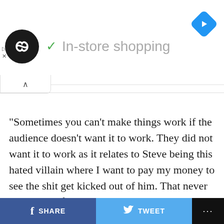[Figure (screenshot): App header bar with a circular black logo with infinity-like symbol, a green checkmark, the text 'In-store shopping' in gray, and a blue navigation diamond icon on the right. Small play and close icons below the logo on the left side. A collapse/accordion tab with an up-arrow caret below the header. A horizontal divider line.]
“Sometimes you can’t make things work if the audience doesn’t want it to work. They did not want it to work as it relates to Steve being this hated villain where I want to pay my money to see the shit get kicked out of him. That never crossed the fans’ mind, in my estimation.”
SHARE   TWEET   ...